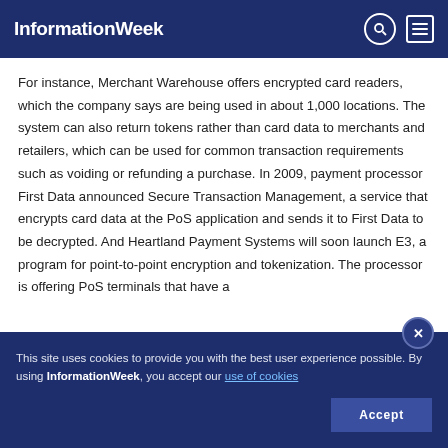InformationWeek
For instance, Merchant Warehouse offers encrypted card readers, which the company says are being used in about 1,000 locations. The system can also return tokens rather than card data to merchants and retailers, which can be used for common transaction requirements such as voiding or refunding a purchase. In 2009, payment processor First Data announced Secure Transaction Management, a service that encrypts card data at the PoS application and sends it to First Data to be decrypted. And Heartland Payment Systems will soon launch E3, a program for point-to-point encryption and tokenization. The processor is offering PoS terminals that have a
This site uses cookies to provide you with the best user experience possible. By using InformationWeek, you accept our use of cookies